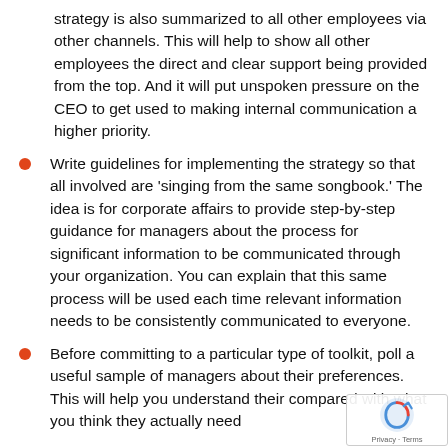strategy is also summarized to all other employees via other channels. This will help to show all other employees the direct and clear support being provided from the top. And it will put unspoken pressure on the CEO to get used to making internal communication a higher priority.
Write guidelines for implementing the strategy so that all involved are 'singing from the same songbook.' The idea is for corporate affairs to provide step-by-step guidance for managers about the process for significant information to be communicated through your organization. You can explain that this same process will be used each time relevant information needs to be consistently communicated to everyone.
Before committing to a particular type of toolkit, poll a useful sample of managers about their preferences. This will help you understand their compared with what you think they actually need